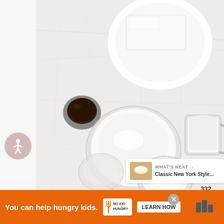[Figure (photo): Overhead view of cheesecake ingredients on a marble surface: a block of cream cheese on a white plate, a small glass bowl with dark liquid (vanilla extract), a large glass bowl with white sugar, a glass pitcher with cream, a small bowl with clear liquid (lemon juice), and a small bowl with sour cream.]
[Figure (infographic): Accessibility icon button - circular icon with person symbol on a mauve background]
[Figure (infographic): Heart/favorite button showing 332 saves, and a share button]
[Figure (infographic): What's Next panel showing 'Classic New York Style...' with a thumbnail image]
You can help hungry kids.
[Figure (logo): No Kid Hungry logo]
LEARN HOW